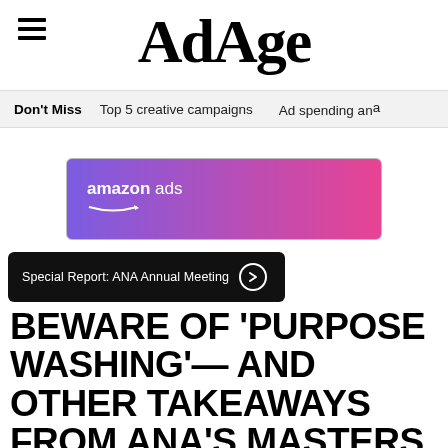AdAge
Don't Miss  Top 5 creative campaigns  Ad spending and
[Figure (illustration): Amazon Ads banner advertisement with purple-to-pink gradient background and white 'amazon ads' text with smile logo]
Special Report: ANA Annual Meeting →
BEWARE OF 'PURPOSE WASHING'— AND OTHER TAKEAWAYS FROM ANA'S MASTERS OF MARKETING